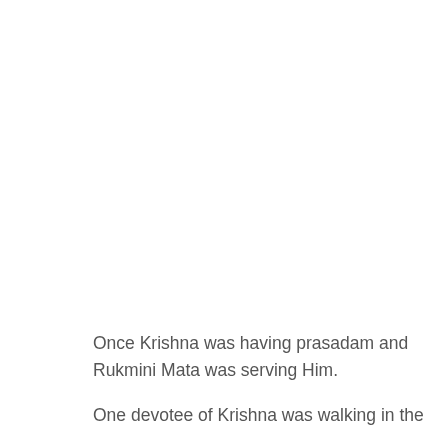Once Krishna was having prasadam and Rukmini Mata was serving Him.

One devotee of Krishna was walking in the